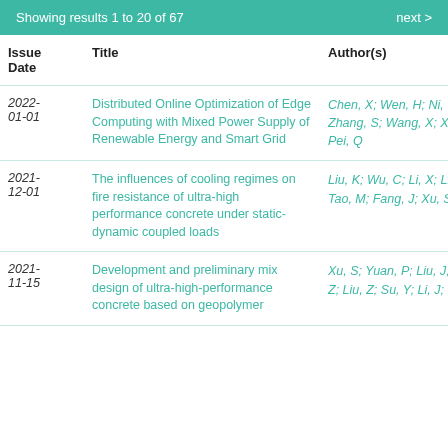Showing results 1 to 20 of 67   next >
| Issue Date | Title | Author(s) |
| --- | --- | --- |
| 2022-01-01 | Distributed Online Optimization of Edge Computing with Mixed Power Supply of Renewable Energy and Smart Grid | Chen, X; Wen, H; Ni, W; Zhang, S; Wang, X; Xu, S; Pei, Q |
| 2021-12-01 | The influences of cooling regimes on fire resistance of ultra-high performance concrete under static-dynamic coupled loads | Liu, K; Wu, C; Li, X; Liu, J; Tao, M; Fang, J; Xu, S |
| 2021-11-15 | Development and preliminary mix design of ultra-high-performance concrete based on geopolymer | Xu, S; Yuan, P; Liu, J; Pan, Z; Liu, Z; Su, Y; Li, J; Wu, C |